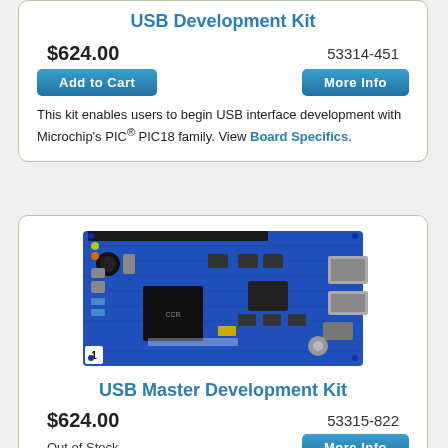USB Development Kit
$624.00    53314-451
[Figure (other): Add to Cart button and More Info button]
This kit enables users to begin USB interface development with Microchip's PIC® PIC18 family. View Board Specifics.
[Figure (photo): Photo of a blue USB Master Development Kit PCB board with various connectors and components]
USB Master Development Kit
$624.00    53315-822
Out of Stock
[Figure (other): More Info button]
This kit enables users to begin USB Master development with Microchip's PIC® PIC18 family and FTDI's Vinculum™ VNC1L USB Host Controller. View Board Specifics.